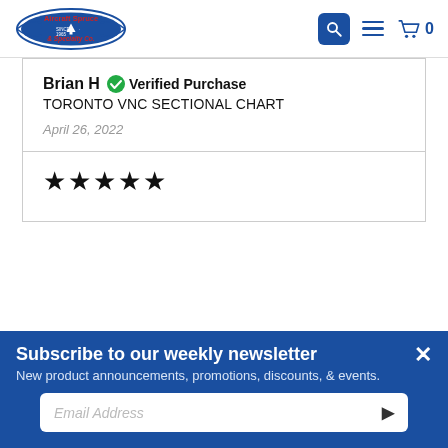[Figure (logo): Aircraft Spruce & Specialty Co. logo with search, menu, and cart icons in header]
Brian H  ✓ Verified Purchase
TORONTO VNC SECTIONAL CHART
April 26, 2022
[Figure (other): Five black star rating icons]
Subscribe to our weekly newsletter
New product announcements, promotions, discounts, & events.
Email Address